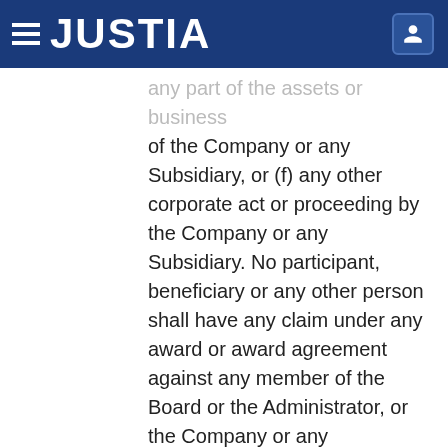JUSTIA
any part of the assets or business of the Company or any Subsidiary, or (f) any other corporate act or proceeding by the Company or any Subsidiary. No participant, beneficiary or any other person shall have any claim under any award or award agreement against any member of the Board or the Administrator, or the Company or any employees, officers or agents of the Company or any Subsidiary, as a result of any such action.
8.13  Other Company Benefit and Compensation Programs